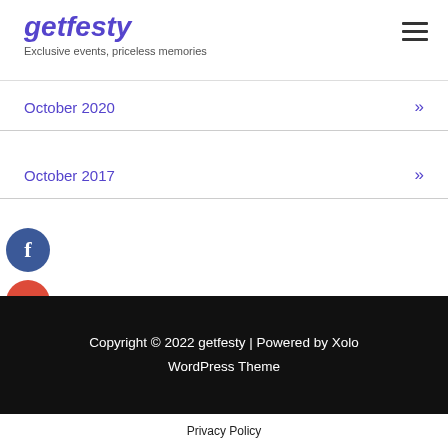getfesty — Exclusive events, priceless memories
October 2020 »
October 2017 »
[Figure (infographic): Social media icons: Facebook (dark blue circle with f), Google+ (red circle with g+), Twitter (light blue circle with bird), Add/Plus (dark blue circle with +)]
Copyright © 2022 getfesty | Powered by Xolo WordPress Theme
Privacy Policy